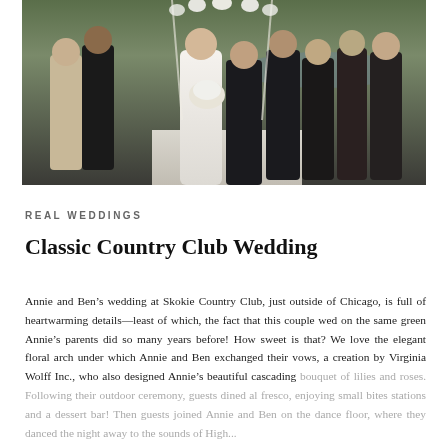[Figure (photo): Wedding party photo at Skokie Country Club showing bride in white dress with bouquet, groom in dark suit, bridesmaids and groomsmen standing outdoors near a floral arch]
REAL WEDDINGS
Classic Country Club Wedding
Annie and Ben’s wedding at Skokie Country Club, just outside of Chicago, is full of heartwarming details—least of which, the fact that this couple wed on the same green Annie’s parents did so many years before! How sweet is that? We love the elegant floral arch under which Annie and Ben exchanged their vows, a creation by Virginia Wolff Inc., who also designed Annie’s beautiful cascading bouquet of lilies and roses. Following their outdoor ceremony, guests dined al fresco, enjoying small bites stations and a dessert bar! Then guests joined Annie and Ben on the dance floor, where they danced the night away to the sounds of High...